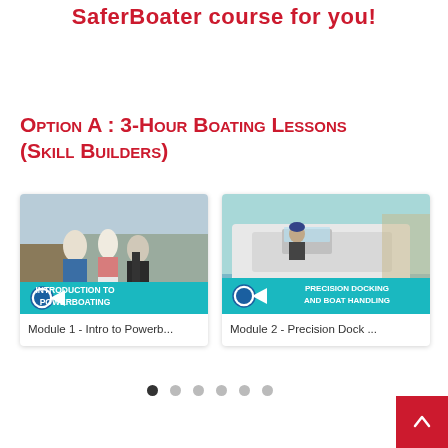SaferBoater course for you!
Option A : 3-Hour Boating Lessons (Skill Builders)
[Figure (photo): Photo of people at a dock with life jackets, overlaid with teal banner reading INTRODUCTION TO POWERBOATING with a logo badge. Caption: Module 1 - Intro to Powerb...]
Module 1 - Intro to Powerb...
[Figure (photo): Photo of a white powerboat at dock with person aboard, overlaid with teal banner reading PRECISION DOCKING AND BOAT HANDLING with a logo badge. Caption: Module 2 - Precision Dock ...]
Module 2 - Precision Dock ...